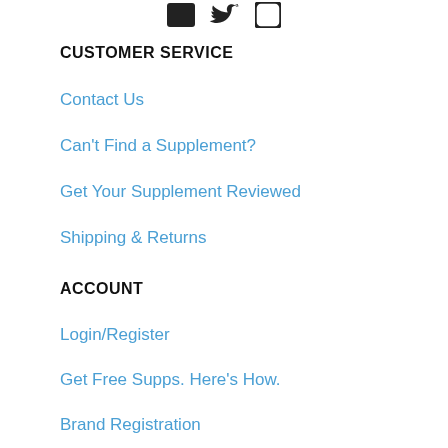[Figure (infographic): Social media icons: Facebook square, Twitter bird, Instagram circle]
CUSTOMER SERVICE
Contact Us
Can't Find a Supplement?
Get Your Supplement Reviewed
Shipping & Returns
ACCOUNT
Login/Register
Get Free Supps. Here's How.
Brand Registration
ABOUT
Articles
FAQ's
Advertise
Sitemap